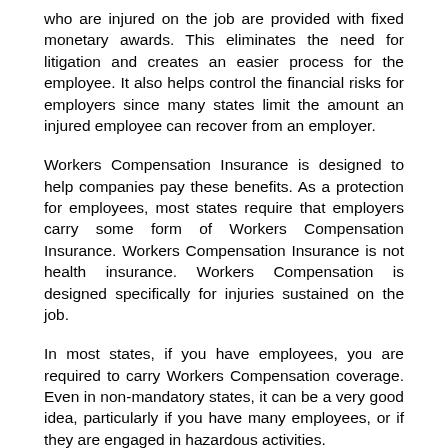who are injured on the job are provided with fixed monetary awards. This eliminates the need for litigation and creates an easier process for the employee. It also helps control the financial risks for employers since many states limit the amount an injured employee can recover from an employer.
Workers Compensation Insurance is designed to help companies pay these benefits. As a protection for employees, most states require that employers carry some form of Workers Compensation Insurance. Workers Compensation Insurance is not health insurance. Workers Compensation is designed specifically for injuries sustained on the job.
In most states, if you have employees, you are required to carry Workers Compensation coverage. Even in non-mandatory states, it can be a very good idea, particularly if you have many employees, or if they are engaged in hazardous activities.
Do I need workers compensation insurance?
Employers have a legal responsibility to their employees to make the workplace safe. However, accidents happen even when every reasonable safety measure has been taken.
To protect employers from lawsuits resulting from workplace accidents and to provide medical care and compensation for lost income to employees hurt in workplace accidents, in almost every state, businesses are required to buy workers compensation insurance. Workers compensation insurance covers workers injured on the job, whether they're hurt on the workplace premises or elsewhere, or in auto accidents while on business. It also covers work-related